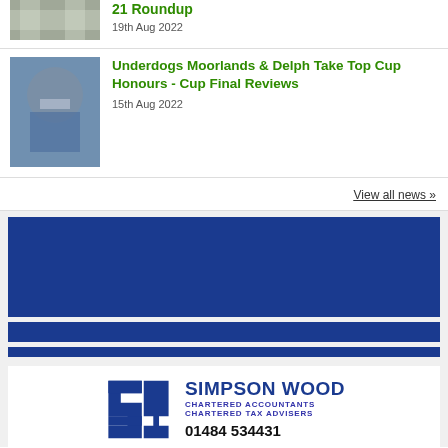21 Roundup
19th Aug 2022
Underdogs Moorlands & Delph Take Top Cup Honours - Cup Final Reviews
15th Aug 2022
View all news »
[Figure (logo): Simpson Wood Chartered Accountants advertisement banner with blue stripe design and SW logo]
SIMPSON WOOD CHARTERED ACCOUNTANTS CHARTERED TAX ADVISERS 01484 534431